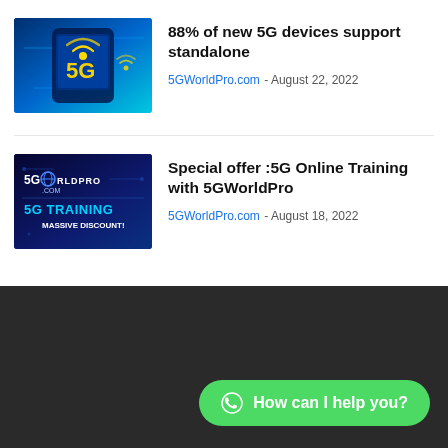[Figure (illustration): Thumbnail image of a 5G smartphone with WiFi signal icons on a blue circuit board background]
88% of new 5G devices support standalone
5GWorldPro.com - August 22, 2022
[Figure (illustration): Thumbnail image for 5GWorldPro.com 5G Training with MASSIVE DISCOUNT! text on dark blue background]
Special offer :5G Online Training with 5GWorldPro
5GWorldPro.com - August 18, 2022
How can I help you?